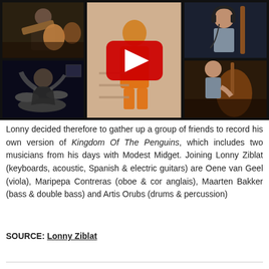[Figure (screenshot): YouTube video thumbnail showing a grid of musicians: top-left shows a man playing guitar, bottom-left shows a drummer playing, center shows a person in orange clothing with a YouTube play button overlay, top-right and bottom-right show a man playing double bass with headphones]
Lonny decided therefore to gather up a group of friends to record his own version of Kingdom Of The Penguins, which includes two musicians from his days with Modest Midget. Joining Lonny Ziblat (keyboards, acoustic, Spanish & electric guitars) are Oene van Geel (viola), Maripepa Contreras (oboe & cor anglais), Maarten Bakker (bass & double bass) and Artis Orubs (drums & percussion)
SOURCE: Lonny Ziblat